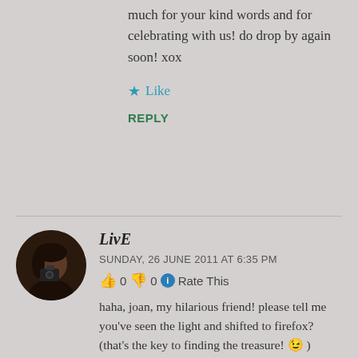much for your kind words and for celebrating with us! do drop by again soon! xox
★ Like
REPLY
LivE
SUNDAY, 26 JUNE 2011 AT 6:35 PM
👍 0 👎 0 ℹ Rate This
haha, joan, my hilarious friend! please tell me you've seen the light and shifted to firefox? (that's the key to finding the treasure! 😉 )